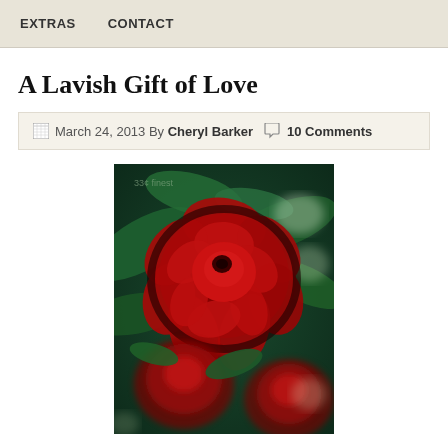EXTRAS   CONTACT
A Lavish Gift of Love
March 24, 2013 By Cheryl Barker  10 Comments
[Figure (photo): Close-up photograph of red roses with dark green leaves background, showing one prominent red rose in the center with additional roses below]